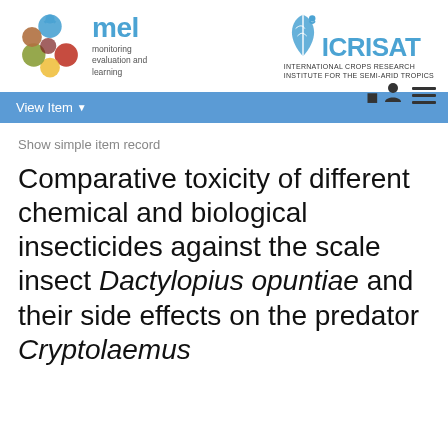[Figure (logo): MEL (Monitoring Evaluation and Learning) logo with colorful overlapping circles and ICRISAT (International Crops Research Institute for the Semi-Arid Tropics) logo]
Show simple item record
Comparative toxicity of different chemical and biological insecticides against the scale insect Dactylopius opuntiae and their side effects on the predator Cryptolaemus